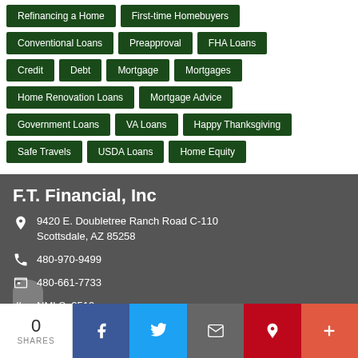Refinancing a Home
First-time Homebuyers
Conventional Loans
Preapproval
FHA Loans
Credit
Debt
Mortgage
Mortgages
Home Renovation Loans
Mortgage Advice
Government Loans
VA Loans
Happy Thanksgiving
Safe Travels
USDA Loans
Home Equity
F.T. Financial, Inc
9420 E. Doubletree Ranch Road C-110
Scottsdale, AZ 85258
480-970-9499
480-661-7733
NMLS: 2519